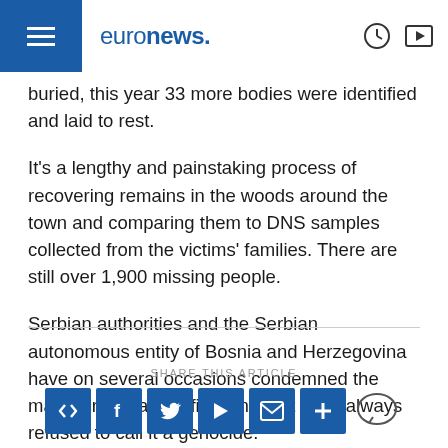euronews.
buried, this year 33 more bodies were identified and laid to rest.
It's a lengthy and painstaking process of recovering remains in the woods around the town and comparing them to DNS samples collected from the victims' families. There are still over 1,900 missing people.
Serbian authorities and the Serbian autonomous entity of Bosnia and Herzegovina have on several occasions condemned the massacre as a horrific crime, but have always refused to call it a genocide.
SHARE THIS ARTICLE